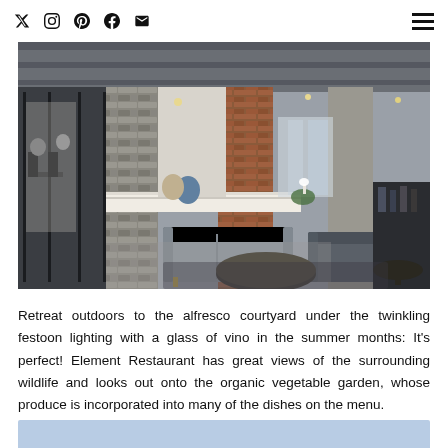Social media icons (Twitter, Instagram, Pinterest, Facebook, Email) and hamburger menu
[Figure (photo): Interior of a hotel/restaurant lounge with grey sofas, brick pillars, a marble bar counter, dark wood coffee table, and guests dining in the background. Industrial-style ceiling with exposed beams and pendant lighting.]
Retreat outdoors to the alfresco courtyard under the twinkling festoon lighting with a glass of vino in the summer months: It's perfect! Element Restaurant has great views of the surrounding wildlife and looks out onto the organic vegetable garden, whose produce is incorporated into many of the dishes on the menu.